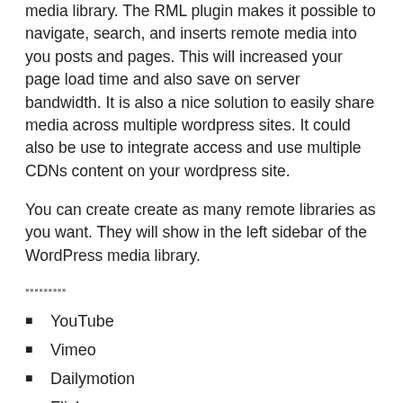media library. The RML plugin makes it possible to navigate, search, and inserts remote media into you posts and pages. This will increased your page load time and also save on server bandwidth. It is also a nice solution to easily share media across multiple wordpress sites. It could also be use to integrate access and use multiple CDNs content on your wordpress site.
You can create create as many remote libraries as you want. They will show in the left sidebar of the WordPress media library.
▪▪▪▪▪▪▪▪▪
YouTube
Vimeo
Dailymotion
Flickr
Instagram